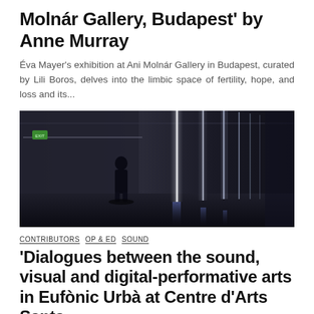Molnár Gallery, Budapest' by Anne Murray
Éva Mayer's exhibition at Ani Molnár Gallery in Budapest, curated by Lili Boros, delves into the limbic space of fertility, hope, and loss and its...
[Figure (photo): Dark corridor or gallery hallway with a silhouetted person standing in the center, with bright vertical white light strips on the right side and a green exit sign on the left wall.]
CONTRIBUTORS  OP & ED  SOUND
'Dialogues between the sound, visual and digital-performative arts in Eufònic Urbà at Centre d'Arts Santa